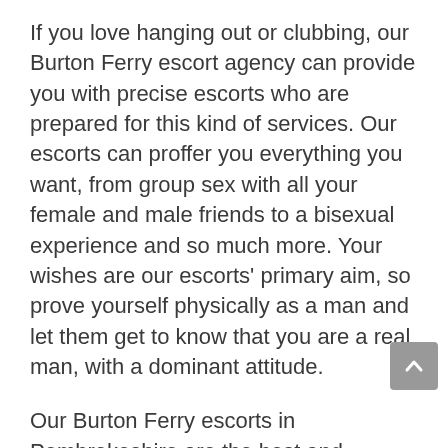If you love hanging out or clubbing, our Burton Ferry escort agency can provide you with precise escorts who are prepared for this kind of services. Our escorts can proffer you everything you want, from group sex with all your female and male friends to a bisexual experience and so much more. Your wishes are our escorts' primary aim, so prove yourself physically as a man and let them get to know that you are a real man, with a dominant attitude.
Our Burton Ferry escorts in Pembrokeshire are the best and excellent masseurs you can have come across, as they can offer you a soothing massage with aromatic oils, scented sticks and candles so that you can enjoy a passionate, sexual and intense atmosphere in their